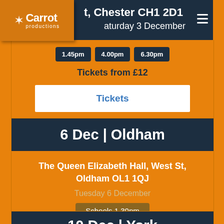[Figure (logo): Carrot Productions logo with star on orange background]
Chester CH1 2DT
Saturday 3 December
1.45pm  4.00pm  6.30pm
Tickets from £12
Tickets
6 Dec | Oldham
The Queen Elizabeth Hall, West St, Oldham OL1 1QJ
Tuesday 6 December
Schools 1.30pm
School tickets available from Oldham Music Service only
10 Dec | York